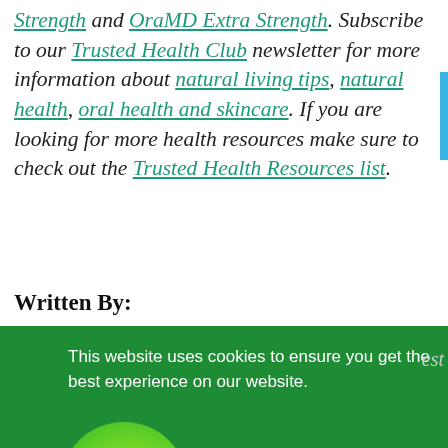Strength and OraMD Extra Strength. Subscribe to our Trusted Health Club newsletter for more information about natural living tips, natural health, oral health and skincare. If you are looking for more health resources make sure to check out the Trusted Health Resources list.
Written By:
[Figure (screenshot): Green cookie consent banner overlay with text 'This website uses cookies to ensure you get the best experience on our website.' and a black 'Got it!' button. A green circle badge shows 'GET 10% OFF' text. A circular scroll-to-top button is partially visible.]
fields. She believes health is the real wealth and